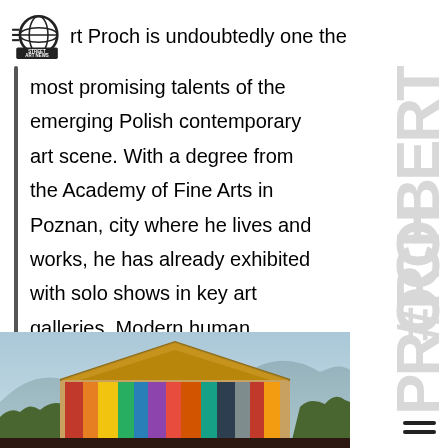Street Art News — Robert Proch is undoubtedly one the
most promising talents of the emerging Polish contemporary art scene. With a degree from the Academy of Fine Arts in Poznan, city where he lives and works, he has already exhibited with solo shows in key art galleries. Modern human condition, inaction and freedom are the concepts that will…
[Figure (photo): Photograph of a building with colorful mural on its facade, mountains in background]
[Figure (other): Watermark text reading #ROBERT PROCH in large light gray vertical letters]